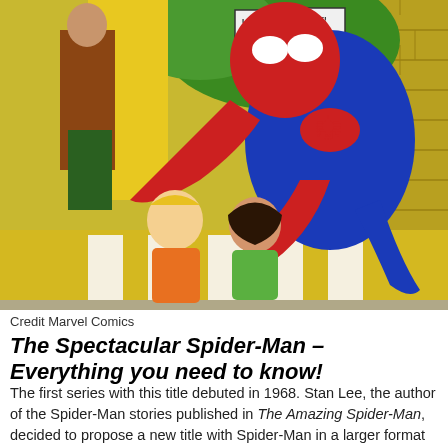[Figure (illustration): Comic book cover art showing Spider-Man in his red and blue costume swooping over two civilians (a blond man in orange jacket and a dark-haired woman in green), with a crowd holding 'UNITE! FIGHT!' signs in the background. A barcode is visible in the lower left. The art style is classic Marvel Comics.]
Credit Marvel Comics
The Spectacular Spider-Man – Everything you need to know!
The first series with this title debuted in 1968. Stan Lee, the author of the Spider-Man stories published in The Amazing Spider-Man, decided to propose a new title with Spider-Man in a larger format and with a greater number of pages.